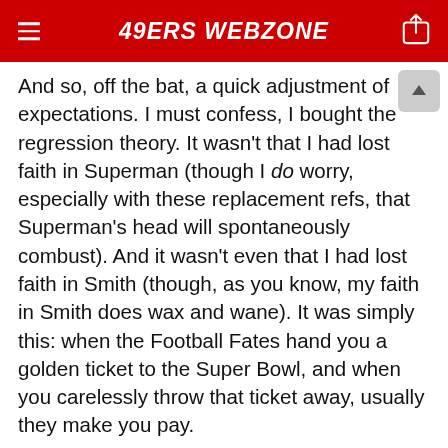49ERS WEBZONE
And so, off the bat, a quick adjustment of expectations. I must confess, I bought the regression theory. It wasn't that I had lost faith in Superman (though I do worry, especially with these replacement refs, that Superman's head will spontaneously combust). And it wasn't even that I had lost faith in Smith (though, as you know, my faith in Smith does wax and wane). It was simply this: when the Football Fates hand you a golden ticket to the Super Bowl, and when you carelessly throw that ticket away, usually they make you pay.
But the Niners merely answered with their most convincing win in years. For the first time since the halcyon days of Montana and Rice, they went into